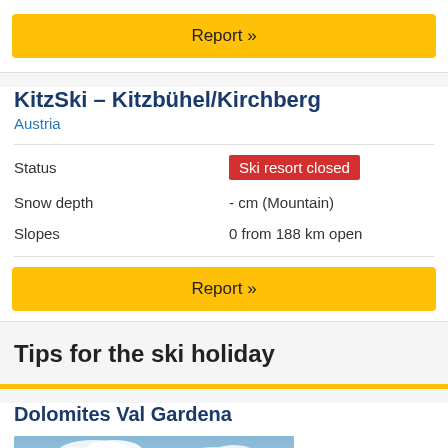Report »
KitzSki – Kitzbühel/Kirchberg
Austria
|  |  |
| --- | --- |
| Status | Ski resort closed |
| Snow depth | - cm (Mountain) |
| Slopes | 0 from 188 km open |
Report »
Tips for the ski holiday
Dolomites Val Gardena
[Figure (photo): Skiers in red jackets on snowy mountain with Dolomites Val Gardena promotional overlay text]